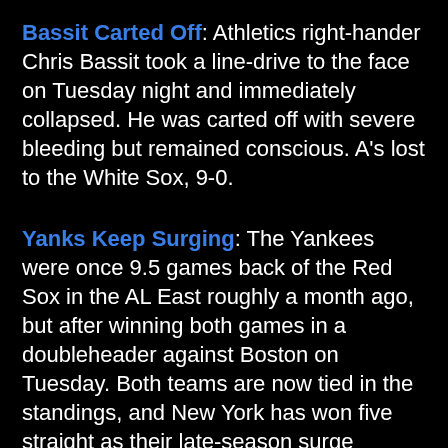Bassit Carted Off: Athletics right-hander Chris Bassit took a line-drive to the face on Tuesday night and immediately collapsed. He was carted off with severe bleeding but remained conscious. A's lost to the White Sox, 9-0.
Yanks Keep Surging: The Yankees were once 9.5 games back of the Red Sox in the AL East roughly a month ago, but after winning both games in a doubleheader against Boston on Tuesday. Both teams are now tied in the standings, and New York has won five straight as their late-season surge continues.